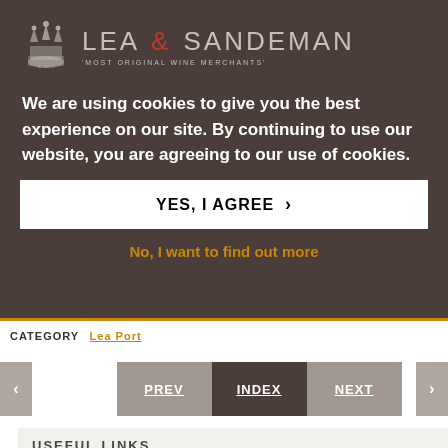[Figure (logo): Lea & Sandeman wine merchants logo with crown emblem and tagline 'Most Original Wine Merchants']
We are using cookies to give you the best experience on our site. By continuing to use our website, you are agreeing to our use of cookies.
YES, I AGREE >
No, I want to find out more
CATEGORY  Lea Port
PREV  INDEX  NEXT
USEFUL LINKS